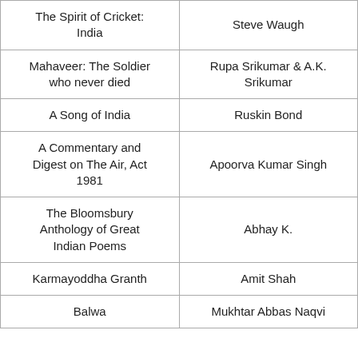| The Spirit of Cricket: India | Steve Waugh |
| Mahaveer: The Soldier who never died | Rupa Srikumar & A.K. Srikumar |
| A Song of India | Ruskin Bond |
| A Commentary and Digest on The Air, Act 1981 | Apoorva Kumar Singh |
| The Bloomsbury Anthology of Great Indian Poems | Abhay K. |
| Karmayoddha Granth | Amit Shah |
| Balwa | Mukhtar Abbas Naqvi |